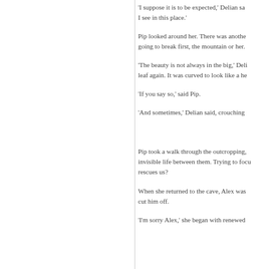'I suppose it is to be expected,' Delian sa... I see in this place.'
Pip looked around her. There was anothe... going to break first, the mountain or her.
'The beauty is not always in the big,' Deli... leaf again. It was curved to look like a he...
'If you say so,' said Pip.
'And sometimes,' Delian said, crouching...
Pip took a walk through the outcropping,... invisible life between them. Trying to focu... rescues us?
When she returned to the cave, Alex was... cut him off.
'I'm sorry Alex,' she began with renewed...